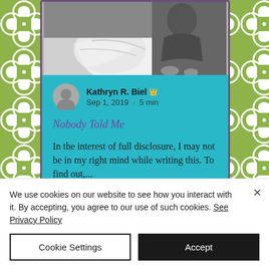[Figure (screenshot): Blog post card on a green trellis patterned background. Card shows a black and white photo at top, author name 'Kathryn R. Biel' with crown icon, date 'Sep 1, 2019 · 5 min', article title 'Nobody Told Me' in purple, and body text preview on a teal/cyan background.]
Kathryn R. Biel 👑
Sep 1, 2019 · 5 min
Nobody Told Me
In the interest of full disclosure, I may not be in my right mind while writing this. To find out,...
We use cookies on our website to see how you interact with it. By accepting, you agree to our use of such cookies. See Privacy Policy
Cookie Settings
Accept